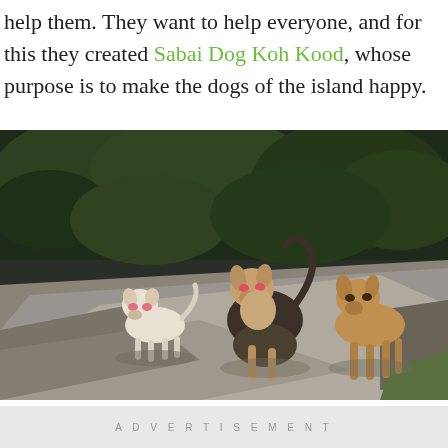help them. They want to help everyone, and for this they created Sabai Dog Koh Kood, whose purpose is to make the dogs of the island happy.
[Figure (photo): Three dogs on a paved path outdoors with green foliage in the background. A small white dog with pink markings on the left, a larger black and tan dog sitting in the center, and a tan dog standing on the right.]
ADVERTISEMENT